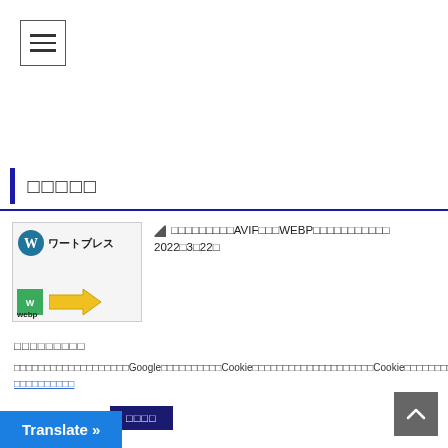[Figure (screenshot): Hamburger menu icon (three horizontal lines) in a bordered box]
□□□□□
[Figure (screenshot): Article thumbnail showing WordPress logo with 'ワートブレス' text and webp arrow conversion image]
□□□□□□□□□AVIF□□□WEBP□□□□□□□□□□□
2022□3□22□
□□□□□□□□□
□□□□□□□□□□□□□□□□□□□Google□□□□□□□□□□Cookie□□□□□□□□□□□□□□□□□□□□Cookie□□□□□□□□□□□□□□□ □□□□□□□□□□
Cookie settings
□□□□
Translate »